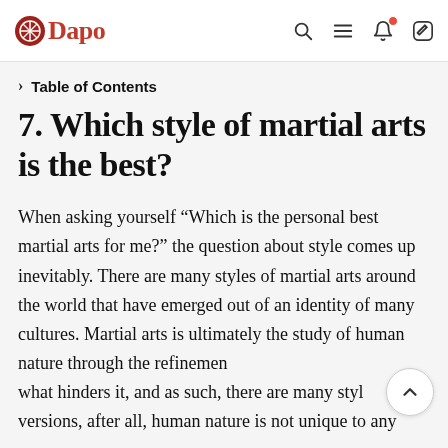Dapo — navigation header with search, menu, notification, and edit icons
> Table of Contents
7. Which style of martial arts is the best?
When asking yourself “Which is the personal best martial arts for me?” the question about style comes up inevitably. There are many styles of martial arts around the world that have emerged out of an identity of many cultures. Martial arts is ultimately the study of human nature through the refinement of what hinders it, and as such, there are many styles and versions, after all, human nature is not unique to any